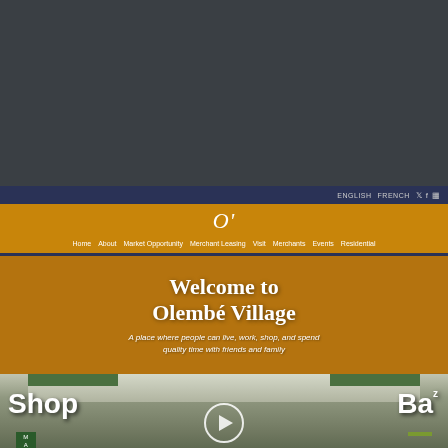[Figure (screenshot): Dark gray top section of a website screenshot]
ENGLISH   FRENCH   [social icons]
[Figure (logo): O' logo in white italic serif font on orange background]
Home   About   Market Opportunity   Merchant Leasing   Visit   Merchants   Events   Residential
Welcome to Olembé Village
A place where people can live, work, shop, and spend quality time with friends and family
[Figure (illustration): Architectural rendering of Olembé Village interior marketplace with Shop and Baz labels, green canopy, brick structures, people walking, and a video play button overlay]